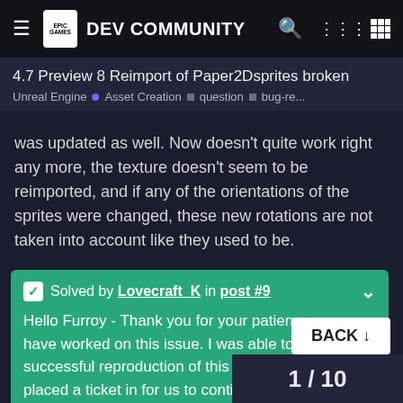Epic Games DEV COMMUNITY
4.7 Preview 8 Reimport of Paper2Dsprites broken
Unreal Engine • Asset Creation ■ question ■ bug-re...
was updated as well. Now doesn't quite work right any more, the texture doesn't seem to be reimported, and if any of the orientations of the sprites were changed, these new rotations are not taken into account like they used to be.
✔ Solved by Lovecraft_K in post #9

Hello Furroy - Thank you for your patience as we have worked on this issue. I was able to get a successful reproduction of this issue and have placed a ticket in for us to continue our investigation toward a solution, for UE-12041. I can say though that natural improvement in t...
BACK ↓
1 / 10